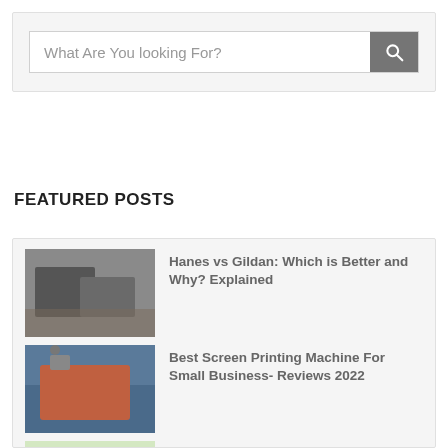[Figure (screenshot): Search bar with placeholder text 'What Are You looking For?' and a grey search button with magnifier icon]
FEATURED POSTS
[Figure (photo): Photo of folded dark clothing/fabric on a surface]
Hanes vs Gildan: Which is Better and Why? Explained
[Figure (photo): Photo of screen printing machine in use]
Best Screen Printing Machine For Small Business- Reviews 2022
[Figure (photo): Photo of art markers and colorful artwork]
Best Art Markers for Professionals: Reviews 2022 (Recommended!)
[Figure (photo): Photo of iron-on transfer paper and iron]
Best Iron-on Transfer Paper Reviews: 2022 (Updated!)